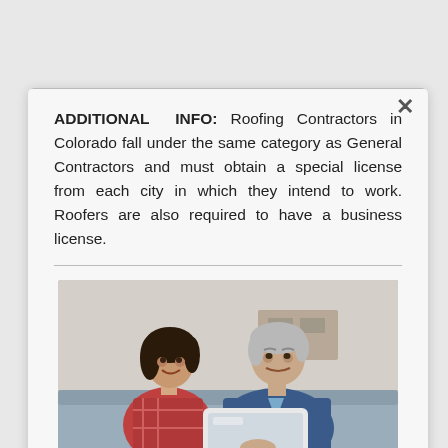ADDITIONAL INFO: Roofing Contractors in Colorado fall under the same category as General Contractors and must obtain a special license from each city in which they intend to work. Roofers are also required to have a business license.
[Figure (photo): A man and woman sitting together on a couch, smiling and looking at a tablet device. The man has gray hair and is wearing a blue sweater; the woman has dark hair and is wearing a plaid shirt.]